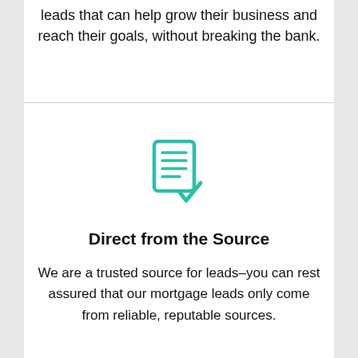leads that can help grow their business and reach their goals, without breaking the bank.
[Figure (illustration): Teal/green icon of a document with lines and a checkmark at the bottom right]
Direct from the Source
We are a trusted source for leads–you can rest assured that our mortgage leads only come from reliable, reputable sources.